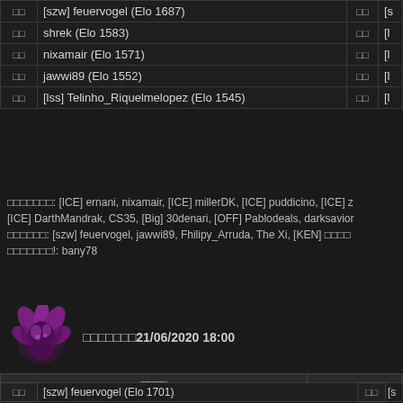|  | Player |  |  |
| --- | --- | --- | --- |
| □□ | [szw] feuervogel (Elo 1687) | □□ | [s |
| □□ | shrek (Elo 1583) | □□ | [l |
| □□ | nixamair (Elo 1571) | □□ | [l |
| □□ | jawwi89 (Elo 1552) | □□ | [l |
| □□ | [lss] Telinho_Riquelmelopez (Elo 1545) | □□ | [l |
□□□□□□□: [ICE] ernani, nixamair, [ICE] millerDK, [ICE] puddicino, [ICE] z [ICE] DarthMandrak, CS35, [Big] 30denari, [OFF] Pablodeals, darksavior □□□□□□: [szw] feuervogel, jawwi89, Fhilipy_Arruda, The Xi, [KEN] □□□□ □□□□□□□!: bany78
[Figure (illustration): Purple flower/fantasy character avatar icon]
□□□□□□□21/06/2020 18:00
|  | □□□□ |  |  |
| --- | --- | --- | --- |
| □□ | [szw] feuervogel (Elo 1701) | □□ | [s |
| □□ | [szw] wokkolusus (Elo 1646) | □□ | [l |
| □□ | [GoD] DoctorDeath (Elo 1632) | □□ | [G |
| □□ | [lss] Telinho_Riquelmelopez (Elo 1627) | □□ | [M |
| □□ | shrek (Elo 1596) | □□ | [l |
| □□ | nixamair (Elo 1570) | □□ | [L |
| □□ | [szw] zeckerlos (Elo 1550) | □□ | [s |
| □□ | [szw] starfighter82 (Elo 1546) | □□ | [E |
| □□ | [szw] firestorm75 (Elo 1546) | □□ | [a |